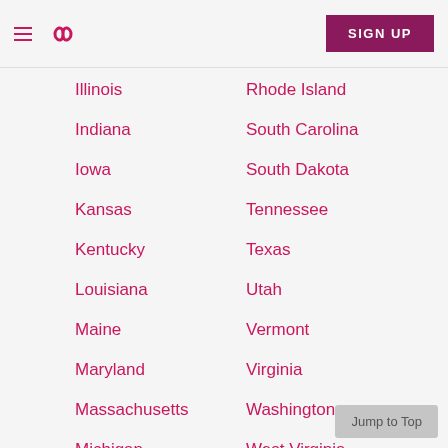Navigation header with hamburger menu, infinity logo, and SIGN UP button
Illinois
Rhode Island
Indiana
South Carolina
Iowa
South Dakota
Kansas
Tennessee
Kentucky
Texas
Louisiana
Utah
Maine
Vermont
Maryland
Virginia
Massachusetts
Washington
Michigan
West Virginia
Minnesota
Wisconsin
Missisippi
Wyoming
Missouri
Jump to Top